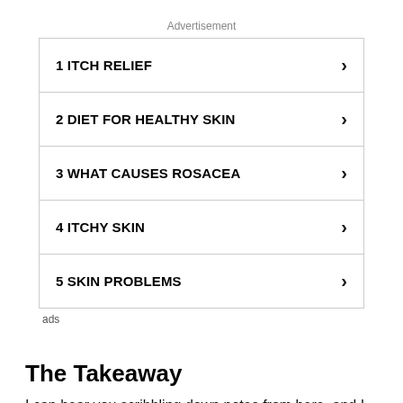Advertisement
| 1 ITCH RELIEF | › |
| 2 DIET FOR HEALTHY SKIN | › |
| 3 WHAT CAUSES ROSACEA | › |
| 4 ITCHY SKIN | › |
| 5 SKIN PROBLEMS | › |
ads
The Takeaway
I can hear you scribbling down notes from here, and I don't